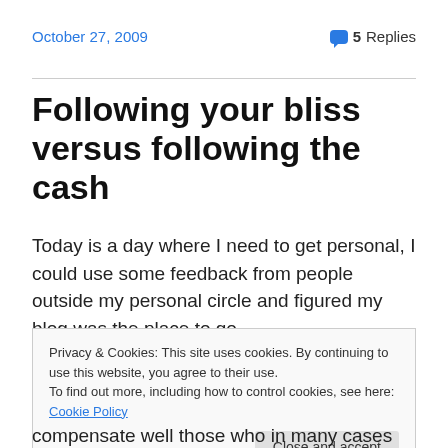October 27, 2009
5 Replies
Following your bliss versus following the cash
Today is a day where I need to get personal, I could use some feedback from people outside my personal circle and figured my blog was the place to go.
Privacy & Cookies: This site uses cookies. By continuing to use this website, you agree to their use.
To find out more, including how to control cookies, see here: Cookie Policy
compensate well those who in many cases have jobs that